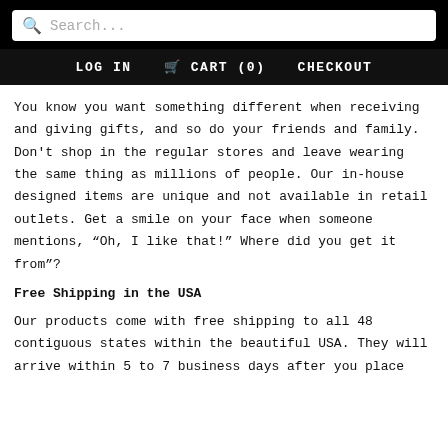Search...
LOG IN   CART (0)   CHECKOUT
You know you want something different when receiving and giving gifts, and so do your friends and family. Don't shop in the regular stores and leave wearing the same thing as millions of people. Our in-house designed items are unique and not available in retail outlets. Get a smile on your face when someone mentions, “Oh, I like that!” Where did you get it from”?
Free Shipping in the USA
Our products come with free shipping to all 48 contiguous states within the beautiful USA. They will arrive within 5 to 7 business days after you place